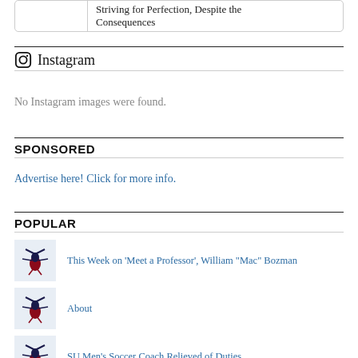Striving for Perfection, Despite the Consequences
Instagram
No Instagram images were found.
SPONSORED
Advertise here! Click for more info.
POPULAR
This Week on 'Meet a Professor', William "Mac" Bozman
About
SU Men's Soccer Coach Relieved of Duties
New SGA Plans to Serve as Student Advocates During